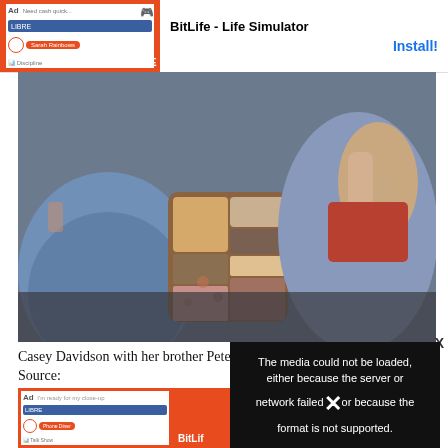[Figure (screenshot): BitLife Life Simulator advertisement banner at top of page]
[Figure (photo): Casey Davidson with her brother Pete, people sitting showing legs and shoes, one person giving thumbs up]
Casey Davidson with her brother Pete  Source: Instagram
About Pete D
[Figure (screenshot): Second BitLife Life Simulator advertisement banner at bottom]
[Figure (screenshot): Video error overlay: The media could not be loaded, either because the server or network failed or because the format is not supported.]